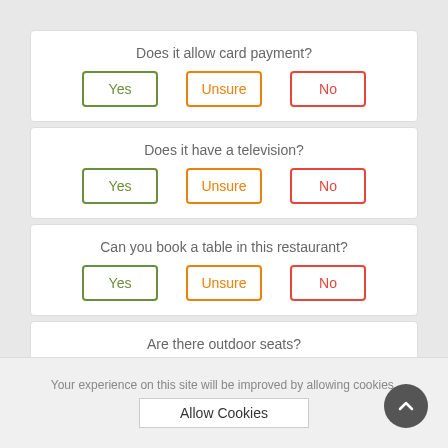Does it allow card payment?
Yes | Unsure | No
Does it have a television?
Yes | Unsure | No
Can you book a table in this restaurant?
Yes | Unsure | No
Are there outdoor seats?
Yes | Unsure | No
Your experience on this site will be improved by allowing cookies.
Allow Cookies